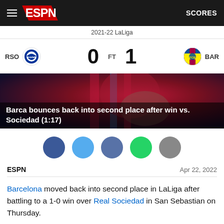ESPN  SCORES
2021-22 LaLiga
RSO 0  FT  1 BAR
[Figure (photo): Barcelona player holding a ball, wearing red and blue striped kit]
Barca bounces back into second place after win vs. Sociedad (1:17)
[Figure (infographic): Five social sharing circles: dark blue (Facebook), light blue (Twitter), dark blue, green (WhatsApp), gray]
ESPN   Apr 22, 2022
Barcelona moved back into second place in LaLiga after battling to a 1-0 win over Real Sociedad in San Sebastian on Thursday.
Pierre-Emerick...